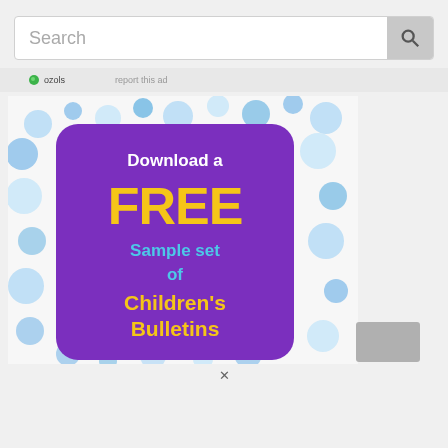Search
ozols   report this ad
[Figure (illustration): Promotional banner with blue bubble pattern background and purple rounded rectangle card. Card text: 'Download a FREE Sample set of Children's Bulletins' in white, yellow, and cyan colors. A gray thumbnail visible at bottom right.]